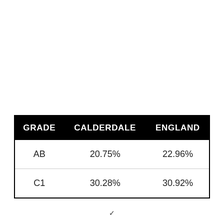| GRADE | CALDERDALE | ENGLAND |
| --- | --- | --- |
| AB | 20.75% | 22.96% |
| C1 | 30.28% | 30.92% |